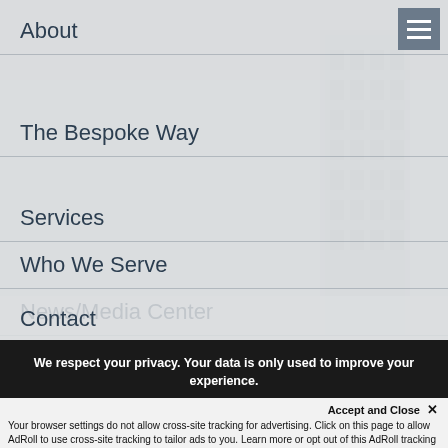[Figure (screenshot): Website navigation menu overlay on a greyscale photo of a building, with hamburger menu icon in top right corner]
About
The Bespoke Way
Services
Who We Serve
News/Media Center
Contact
We respect your privacy. Your data is only used to improve your experience.
Accept and Close ✕
Your browser settings do not allow cross-site tracking for advertising. Click on this page to allow AdRoll to use cross-site tracking to tailor ads to you. Learn more or opt out of this AdRoll tracking by clicking here. This message only appears once.